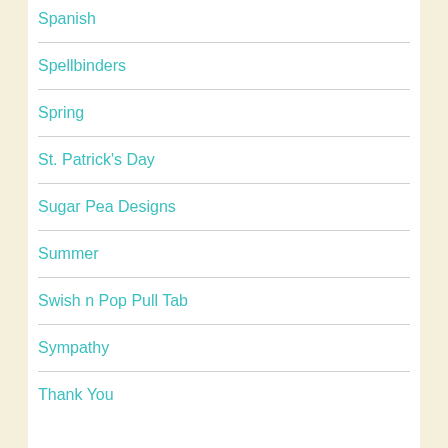Spanish
Spellbinders
Spring
St. Patrick's Day
Sugar Pea Designs
Summer
Swish n Pop Pull Tab
Sympathy
Thank You